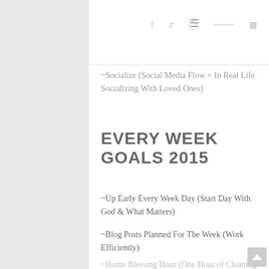≡   f  t  ◎  p  ⊳
~Socialize (Social Media Flow + In Real Life Socializing With Loved Ones)
EVERY WEEK GOALS 2015
~Up Early Every Week Day (Start Day With God & What Matters)
~Blog Posts Planned For The Week (Work Efficiently)
~Home Blessing Hour (One Hour of Cleaning. Dust, Bathrooms, Sweep, Mop, Vacuum)